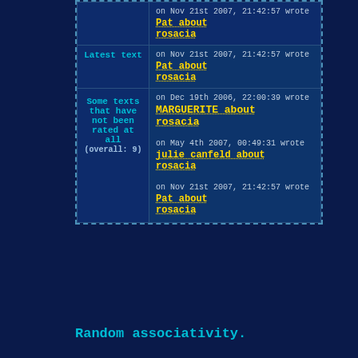| Category | Activity |
| --- | --- |
|  | on Nov 21st 2007, 21:42:57 wrote
Pat about rosacia |
| Latest text | on Nov 21st 2007, 21:42:57 wrote
Pat about rosacia |
| Some texts that have not been rated at all (overall: 9) | on Dec 19th 2006, 22:00:39 wrote
MARGUERITE about rosacia

on May 4th 2007, 00:49:31 wrote
julie canfeld about rosacia

on Nov 21st 2007, 21:42:57 wrote
Pat about rosacia |
Random associativity.